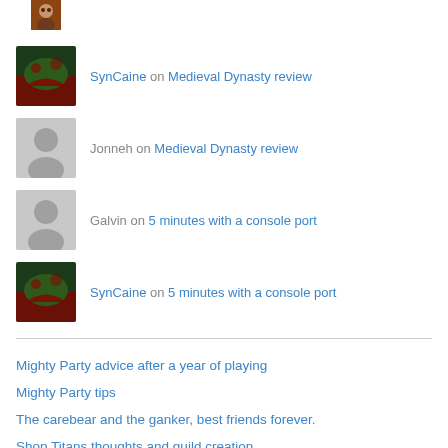SynCaine on Medieval Dynasty review
Jonneh on Medieval Dynasty review
Galvin on 5 minutes with a console port
SynCaine on 5 minutes with a console port
Mighty Party advice after a year of playing
Mighty Party tips
The carebear and the ganker, best friends forever.
Shop Titans thoughts and guild creation
Kingdom Come: Deliverance - The combat system is awful
State of Decay 2 Co-Op issues